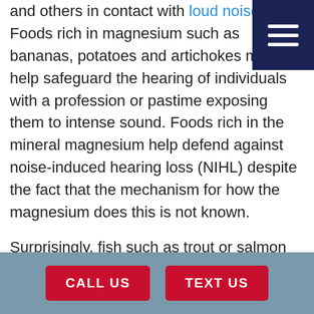and others in contact with loud noises. Foods rich in magnesium such as bananas, potatoes and artichokes may help safeguard the hearing of individuals with a profession or pastime exposing them to intense sound. Foods rich in the mineral magnesium help defend against noise-induced hearing loss (NIHL) despite the fact that the mechanism for how the magnesium does this is not known.
Surprisingly, fish such as trout or salmon that contains vitamin D and omega 3 fats, has been shown in medical studies to protect against age-related hearing loss. The anchovies that
CALL US   TEXT US